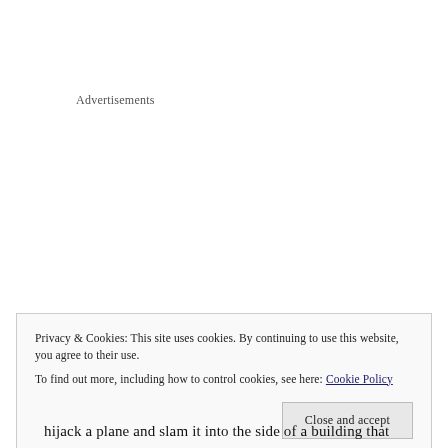Advertisements
Privacy & Cookies: This site uses cookies. By continuing to use this website, you agree to their use.
To find out more, including how to control cookies, see here: Cookie Policy
Close and accept
hijack a plane and slam it into the side of a building that